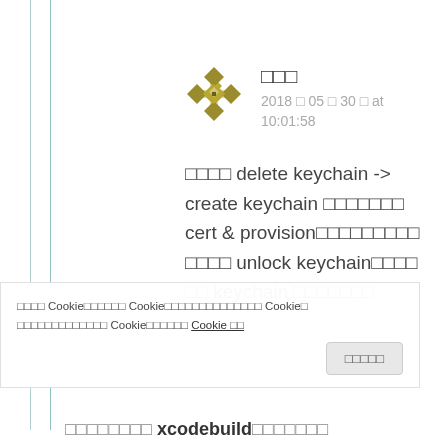[Figure (illustration): User avatar: gold/olive geometric diamond pattern icon]
□□□
2018 □ 05 □ 30 □ at 10:01:58
□□□□ delete keychain -> create keychain □□□□□□□ cert & provision□□□□□□□□□ □□□□ unlock keychain□□□□ □□ keychain □□□□□□□
□□□□ Cookie□□□□□□ Cookie□□□□□□□□□□□□□□ Cookie□ □□□□□□□□□□□□□ Cookie□□□□□□ Cookie □□
□□□□□
□□□□□□□□ xcodebuild□□□□□□□